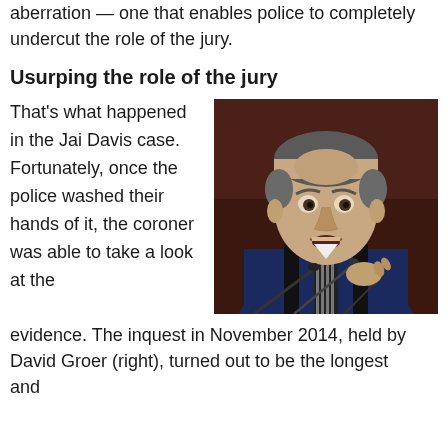aberration — one that enables police to completely undercut the role of the jury.
Usurping the role of the jury
That's what happened in the Jai Davis case. Fortunately, once the police washed their hands of it, the coroner was able to take a look at the
[Figure (photo): Portrait photo of David Groer, a judge wearing blue judicial robes with a striped tie, seated at a bench with microphones, speaking or gesturing.]
evidence. The inquest in November 2014, held by David Groer (right), turned out to be the longest and